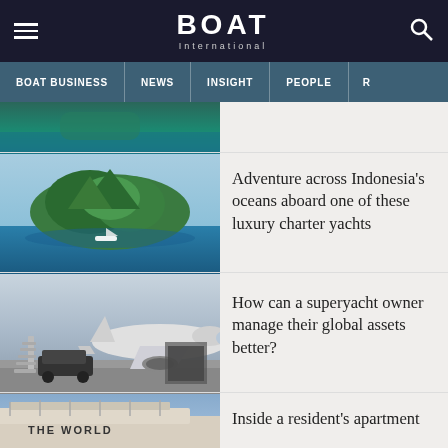BOAT International
BOAT BUSINESS | NEWS | INSIGHT | PEOPLE
[Figure (photo): Cropped top of aerial ocean/water image with teal water and green vegetation, partially visible]
[Figure (photo): Aerial view of a tropical green island surrounded by deep blue ocean water with a white yacht visible near the island]
Adventure across Indonesia's oceans aboard one of these luxury charter yachts
[Figure (photo): Private jet aircraft on tarmac with airstair deployed and a luxury car visible in foreground, cloudy sky]
How can a superyacht owner manage their global assets better?
[Figure (photo): Close-up of a large vessel hull with the text THE WORLD visible, blue sky background]
Inside a resident's apartment